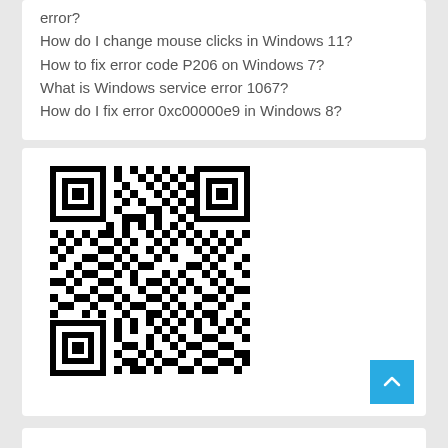error?
How do I change mouse clicks in Windows 11?
How to fix error code P206 on Windows 7?
What is Windows service error 1067?
How do I fix error 0xc00000e9 in Windows 8?
[Figure (other): QR code image in black and white]